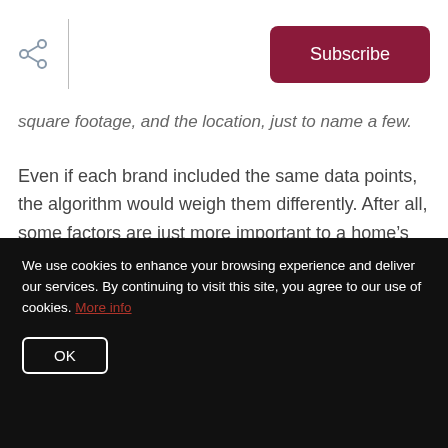[share icon] | Subscribe
square footage, and the location, just to name a few.
Even if each brand included the same data points, the algorithm would weigh them differently. After all, some factors are just more important to a home’s price. Stainless steel appliances won’t affect value as much as square footage. Yet square footage might not matter as much as the neighborhood.
We use cookies to enhance your browsing experience and deliver our services. By continuing to visit this site, you agree to our use of cookies. More info
OK